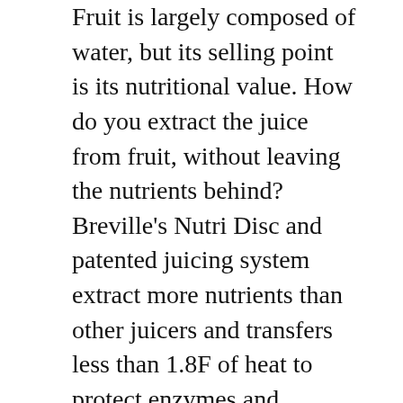Fruit is largely composed of water, but its selling point is its nutritional value. How do you extract the juice from fruit, without leaving the nutrients behind? Breville’s Nutri Disc and patented juicing system extract more nutrients than other juicers and transfers less than 1.8F of heat to protect enzymes and maximize nutrient absorption of select nutrients.
The dual speed, 850 watt motor allows you to juice hard fruits and vegetables like apples and beets on high speed at 12,000 RPM, while the low speed (6,500rpm) is optimal for softer fruits and leafy green vegetables like cantaloupe and spinach. The Juice Fountain Plus cutting disc is so powerful that pineapple can be juiced in large chunks with the rind on...